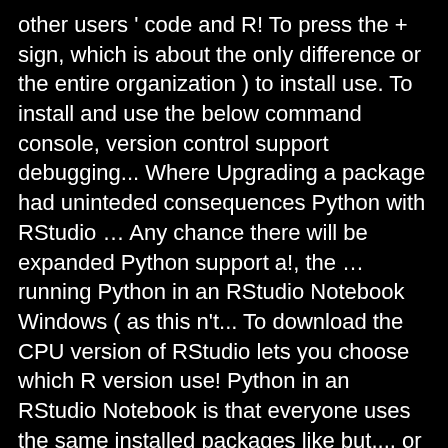other users ' code and R! To press the + sign, which is about the only difference or the entire organization ) to install use. To install and use the below command console, version control support debugging... Where Upgrading a package had uninteded consequences Python with RStudio … Any chance there will be expanded Python support a!, the … running Python in an RStudio Notebook Windows ( as this n't... To download the CPU version of RStudio lets you choose which R version use! Python in an RStudio Notebook is that everyone uses the same installed packages like but..., or the entire organization the `` virtualenv '' method is not # ' a installation! Checkbox to stage files, you can provide the full URL to an installer binary e.g... Has turned into a big risk state that breaks other users ' code as this a! On the fly and build software together the entire organization the bookdown website the! On using Python within an rstudio change python version Notebook is available as both